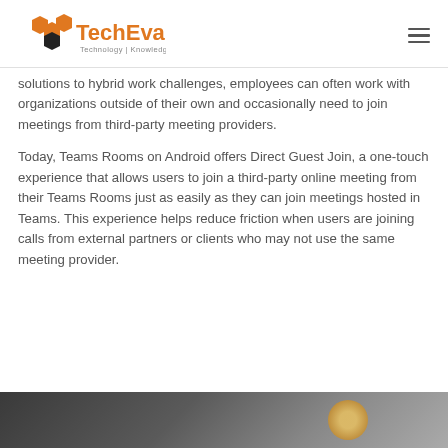TechEvangs — Technology | Knowledge | Walkthrough
solutions to hybrid work challenges, employees can often work with organizations outside of their own and occasionally need to join meetings from third-party meeting providers.
Today, Teams Rooms on Android offers Direct Guest Join, a one-touch experience that allows users to join a third-party online meeting from their Teams Rooms just as easily as they can join meetings hosted in Teams. This experience helps reduce friction when users are joining calls from external partners or clients who may not use the same meeting provider.
[Figure (photo): Partial bottom image strip showing a person or scene, partially cropped]